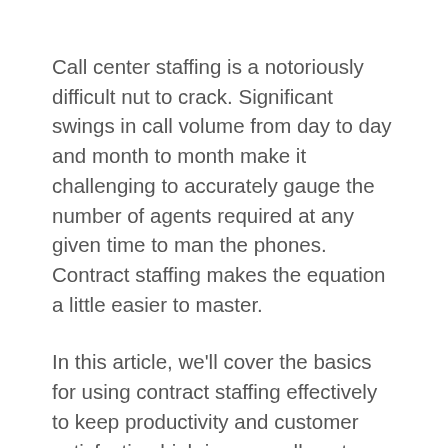Call center staffing is a notoriously difficult nut to crack. Significant swings in call volume from day to day and month to month make it challenging to accurately gauge the number of agents required at any given time to man the phones. Contract staffing makes the equation a little easier to master.
In this article, we'll cover the basics for using contract staffing effectively to keep productivity and customer satisfaction high in your call center.